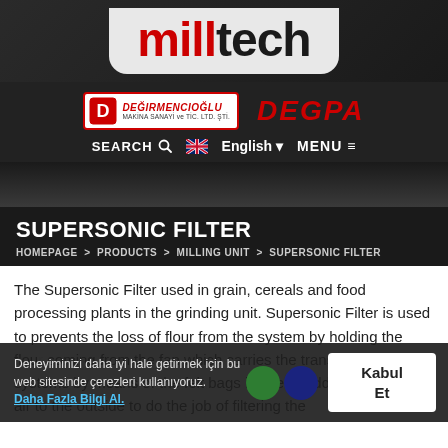[Figure (logo): Milltech logo in red and white text on grey background]
[Figure (logo): Değirmencioğlu Makina Sanayi ve Tic. Ltd. Şti. logo and DEGPA logo side by side]
SEARCH  English  MENU
SUPERSONIC FILTER
HOMEPAGE > PRODUCTS > MILLING UNIT > SUPERSONIC FILTER
The Supersonic Filter used in grain, cereals and food processing plants in the grinding unit. Supersonic Filter is used to prevents the loss of flour from the system by holding the flour coming from the fan which carries the transport pneumatic systems by means of the felt bags inside the addition, the dusty air to the outside to do the job of filtering the
Deneyiminizi daha iyi hale getirmek için bu web sitesinde çerezleri kullanıyoruz. Daha Fazla Bilgi Al.  Kabul Et